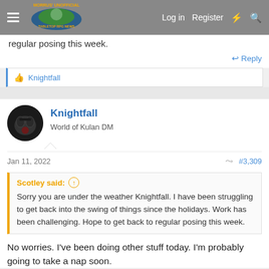Morrus' Unofficial Tabletop RPG News — Log in | Register
regular posing this week.
↩ Reply
👍 Knightfall
Knightfall
World of Kulan DM
Jan 11, 2022 · #3,309
Scotley said: ↑
Sorry you are under the weather Knightfall. I have been struggling to get back into the swing of things since the holidays. Work has been challenging. Hope to get back to regular posing this week.
No worries. I've been doing other stuff today. I'm probably going to take a nap soon.